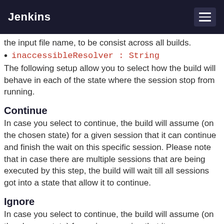Jenkins
the input file name, to be consist across all builds.
inaccessibleResolver : String
The following setup allow you to select how the build will behave in each of the state where the session stop from running.
Continue
In case you select to continue, the build will assume (on the chosen state) for a given session that it can continue and finish the wait on this specific session. Please note that in case there are multiple sessions that are being executed by this step, the build will wait till all sessions got into a state that allow it to continue.
Ignore
In case you select to continue, the build will assume (on the chosen state) for a given session that it can